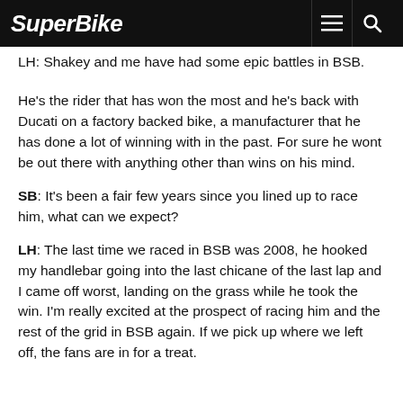SuperBike
LH: Shakey and me have had some epic battles in BSB. He's the rider that has won the most and he's back with Ducati on a factory backed bike, a manufacturer that he has done a lot of winning with in the past. For sure he wont be out there with anything other than wins on his mind.
SB: It's been a fair few years since you lined up to race him, what can we expect?
LH: The last time we raced in BSB was 2008, he hooked my handlebar going into the last chicane of the last lap and I came off worst, landing on the grass while he took the win. I'm really excited at the prospect of racing him and the rest of the grid in BSB again. If we pick up where we left off, the fans are in for a treat.